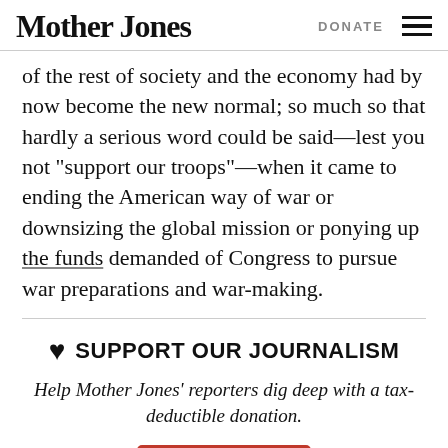Mother Jones | DONATE [menu]
of the rest of society and the economy had by now become the new normal; so much so that hardly a serious word could be said—lest you not “support our troops”—when it came to ending the American way of war or downsizing the global mission or ponying up the funds demanded of Congress to pursue war preparations and war-making.
♥ SUPPORT OUR JOURNALISM
Help Mother Jones’ reporters dig deep with a tax-deductible donation.
Donate